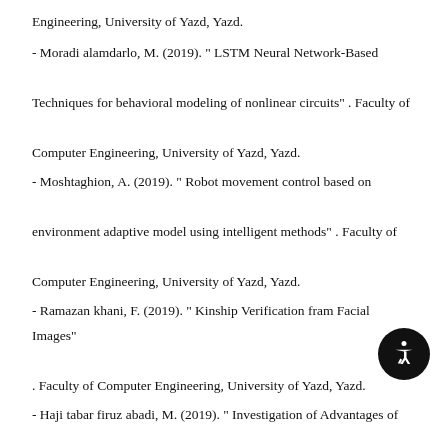Engineering, University of Yazd, Yazd.
- Moradi alamdarlo, M. (2019). " LSTM Neural Network-Based Techniques for behavioral modeling of nonlinear circuits" . Faculty of Computer Engineering, University of Yazd, Yazd.
- Moshtaghion, A. (2019). " Robot movement control based on environment adaptive model using intelligent methods" . Faculty of Computer Engineering, University of Yazd, Yazd.
- Ramazan khani, F. (2019). " Kinship Verification fram Facial Images" . Faculty of Computer Engineering, University of Yazd, Yazd.
- Haji tabar firuz abadi, M. (2019). " Investigation of Advantages of Gated Recurrent Unit Neural Network Structures for Modeling electronic Components" . Faculty of Computer Engineering, University of Yazd, Yazd.